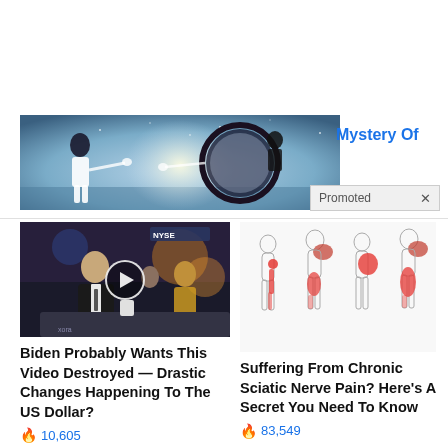[Figure (photo): Banner advertisement image showing a woman in white looking at a mirror with a mystical space/galaxy scene. Partially visible image with 'Mystery Of' text in blue to the right.]
Mystery Of
Promoted X
[Figure (screenshot): Video thumbnail showing a man in a suit being interviewed in what appears to be a TV studio or stock exchange floor, with a play button overlay.]
Biden Probably Wants This Video Destroyed — Drastic Changes Happening To The US Dollar?
🔥 10,605
[Figure (illustration): Medical illustration showing four silhouette figures of human bodies highlighting sciatic nerve pain areas in red along the leg and lower back.]
Suffering From Chronic Sciatic Nerve Pain? Here's A Secret You Need To Know
🔥 83,549